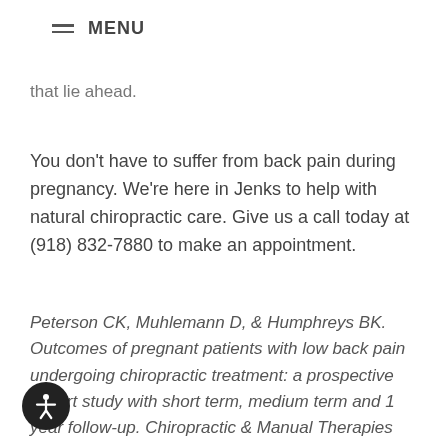≡ MENU
that lie ahead.
You don't have to suffer from back pain during pregnancy. We're here in Jenks to help with natural chiropractic care. Give us a call today at (918) 832-7880 to make an appointment.
Peterson CK, Muhlemann D, & Humphreys BK. Outcomes of pregnant patients with low back pain undergoing chiropractic treatment: a prospective cohort study with short term, medium term and 1 year follow-up. Chiropractic & Manual Therapies 2014;22(15):doi:10.1186/2045-709X-22-15.